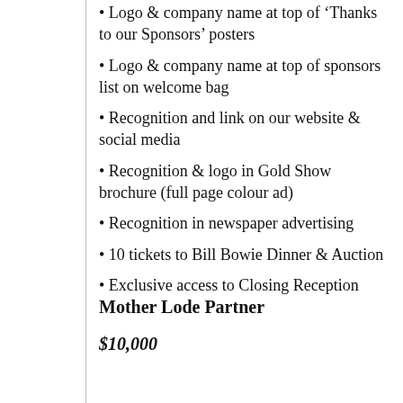• Logo & company name at top of 'Thanks to our Sponsors' posters
• Logo & company name at top of sponsors list on welcome bag
• Recognition and link on our website & social media
• Recognition & logo in Gold Show brochure (full page colour ad)
• Recognition in newspaper advertising
• 10 tickets to Bill Bowie Dinner & Auction
• Exclusive access to Closing Reception
Mother Lode Partner
$10,000